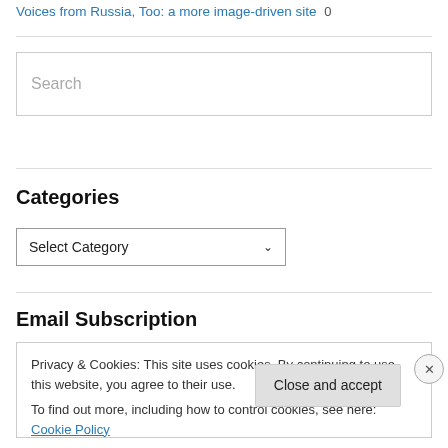Voices from Russia, Too: a more image-driven site 0
[Figure (screenshot): Search input box with placeholder text 'Search']
Categories
[Figure (screenshot): Select Category dropdown box]
Email Subscription
Privacy & Cookies: This site uses cookies. By continuing to use this website, you agree to their use. To find out more, including how to control cookies, see here: Cookie Policy
Close and accept